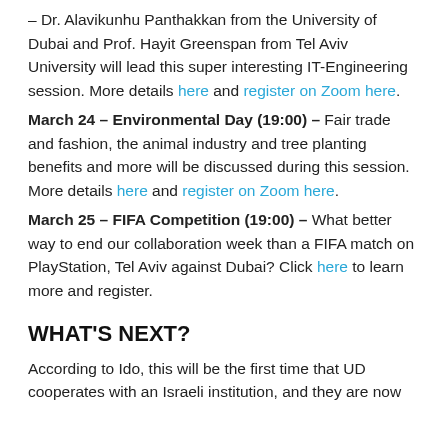– Dr. Alavikunhu Panthakkan from the University of Dubai and Prof. Hayit Greenspan from Tel Aviv University will lead this super interesting IT-Engineering session. More details here and register on Zoom here. March 24 – Environmental Day (19:00) – Fair trade and fashion, the animal industry and tree planting benefits and more will be discussed during this session. More details here and register on Zoom here. March 25 – FIFA Competition (19:00) – What better way to end our collaboration week than a FIFA match on PlayStation, Tel Aviv against Dubai? Click here to learn more and register.
WHAT'S NEXT?
According to Ido, this will be the first time that UD cooperates with an Israeli institution, and they are now